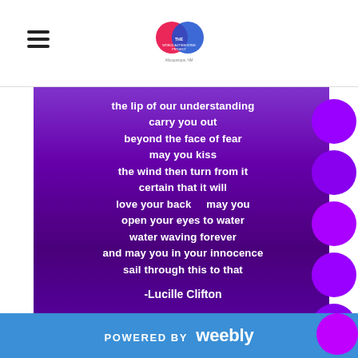[Logo: The World Autism Song Project] [Hamburger menu icon]
[Figure (illustration): Purple gradient block with poem text in white bold font, centered. Purple circles along the right edge.]
the lip of our understanding
carry you out
beyond the face of fear
may you kiss
the wind then turn from it
certain that it will
love your back    may you
open your eyes to water
water waving forever
and may you in your innocence
sail through this to that
-Lucille Clifton
POWERED BY weebly